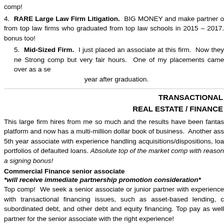comp!
4. RARE Large Law Firm Litigation. BIG MONEY and make partner o from top law firms who graduated from top law schools in 2015 – 2017. bonus too!
5. Mid-Sized Firm. I just placed an associate at this firm. Now they ne Strong comp but very fair hours. One of my placements came over as a se year after graduation.
TRANSACTIONAL
REAL ESTATE / FINANCE
This large firm hires from me so much and the results have been fantas platform and now has a multi-million dollar book of business. Another ass 5th year associate with experience handling acquisitions/dispositions, loa portfolios of defaulted loans. Absolute top of the market comp with reason a signing bonus!
Commercial Finance senior associate
*will receive immediate partnership promotion consideration*
Top comp! We seek a senior associate or junior partner with experience with transactional financing issues, such as asset-based lending, c subordinated debt, and other debt and equity financing. Top pay as well partner for the senior associate with the right experience!
Corporate Finance
1. BIG signing bonus